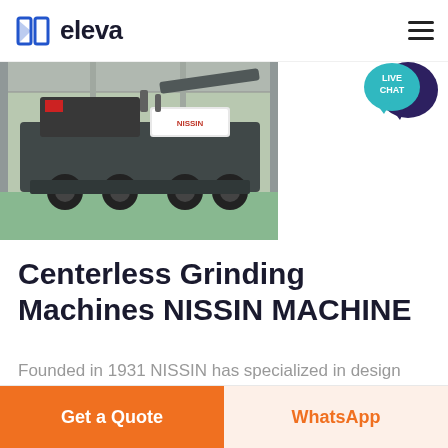eleva
[Figure (photo): Industrial mobile crushing/screening machine (dark gray, heavy equipment on wheels) parked inside a factory/warehouse with green floor]
[Figure (infographic): Live Chat speech bubble badge in teal/cyan with dark blue chat bubble overlay, text: LIVE CHAT]
Centerless Grinding Machines NISSIN MACHINE
Founded in 1931 NISSIN has specialized in design and manufacturing of centerless
Get a Quote | WhatsApp